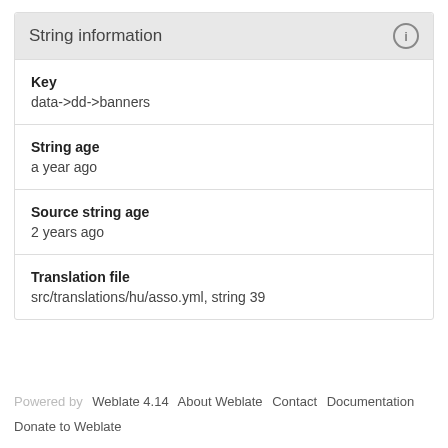String information
Key
data->dd->banners
String age
a year ago
Source string age
2 years ago
Translation file
src/translations/hu/asso.yml, string 39
Powered by Weblate 4.14   About Weblate   Contact   Documentation
Donate to Weblate